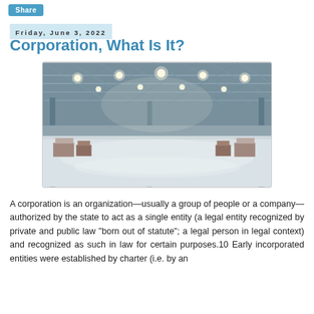Share
Friday, June 3, 2022
Corporation, What Is It?
[Figure (photo): Interior of a large empty warehouse with high ceilings, steel roof trusses, bright overhead lights, concrete floor, and pallets of goods along the walls]
A corporation is an organization—usually a group of people or a company—authorized by the state to act as a single entity (a legal entity recognized by private and public law "born out of statute"; a legal person in legal context) and recognized as such in law for certain purposes.10 Early incorporated entities were established by charter (i.e. by an